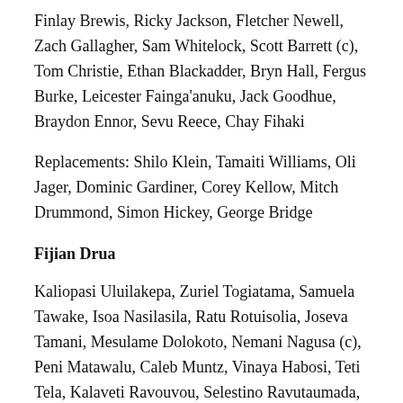Finlay Brewis, Ricky Jackson, Fletcher Newell, Zach Gallagher, Sam Whitelock, Scott Barrett (c), Tom Christie, Ethan Blackadder, Bryn Hall, Fergus Burke, Leicester Fainga'anuku, Jack Goodhue, Braydon Ennor, Sevu Reece, Chay Fihaki
Replacements: Shilo Klein, Tamaiti Williams, Oli Jager, Dominic Gardiner, Corey Kellow, Mitch Drummond, Simon Hickey, George Bridge
Fijian Drua
Kaliopasi Uluilakepa, Zuriel Togiatama, Samuela Tawake, Isoa Nasilasila, Ratu Rotuisolia, Joseva Tamani, Mesulame Dolokoto, Nemani Nagusa (c), Peni Matawalu, Caleb Muntz, Vinaya Habosi, Teti Tela, Kalaveti Ravouvou, Selestino Ravutaumada, Kitione Taliga
Replacements: Tevita Ikanivere, Haereiti Hetet, Manasa Saulo,